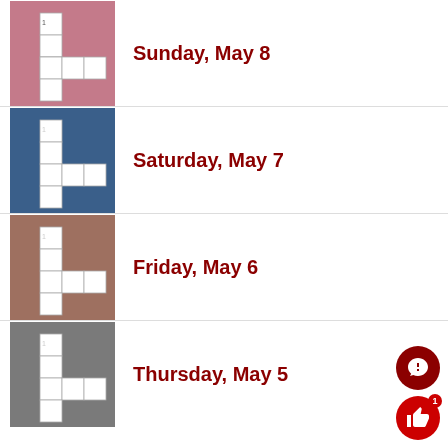[Figure (illustration): Pink background crossword puzzle thumbnail]
Sunday, May 8
[Figure (illustration): Blue background crossword puzzle thumbnail]
Saturday, May 7
[Figure (illustration): Brown/mauve background crossword puzzle thumbnail]
Friday, May 6
[Figure (illustration): Gray background crossword puzzle thumbnail]
Thursday, May 5